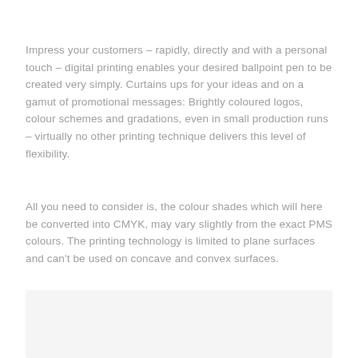Impress your customers – rapidly, directly and with a personal touch – digital printing enables your desired ballpoint pen to be created very simply. Curtains ups for your ideas and on a gamut of promotional messages: Brightly coloured logos, colour schemes and gradations, even in small production runs – virtually no other printing technique delivers this level of flexibility.
All you need to consider is, the colour shades which will here be converted into CMYK, may vary slightly from the exact PMS colours. The printing technology is limited to plane surfaces and can't be used on concave and convex surfaces.
[Figure (other): A light grey rectangular box at the bottom of the page, partially visible, appearing to be a product or image placeholder.]